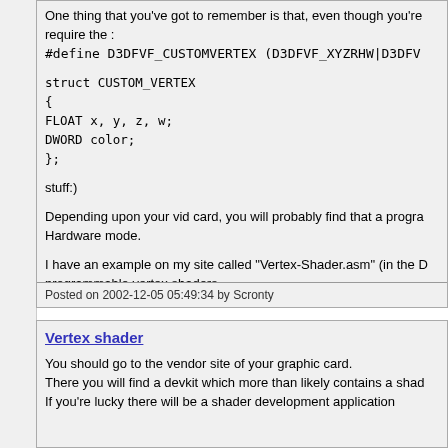One thing that you've got to remember is that, even though you're require the :
#define D3DFVF_CUSTOMVERTEX (D3DFVF_XYZRHW|D3DFV
struct CUSTOM_VERTEX
{
FLOAT x, y, z, w;
DWORD color;
};
stuff:)
Depending upon your vid card, you will probably find that a progra Hardware mode.
I have an example on my site called "Vertex-Shader.asm" (in the D programmable vertex shaders.
The language of the shader code is a form of RISC (IIRC "reduce Nothing like using two forms of assembly in the same proggy :grin
Cheers,
Scronty
Posted on 2002-12-05 05:49:34 by Scronty
Vertex shader
You should go to the vendor site of your graphic card.
There you will find a devkit which more than likely contains a shad
If you're lucky there will be a shader development application